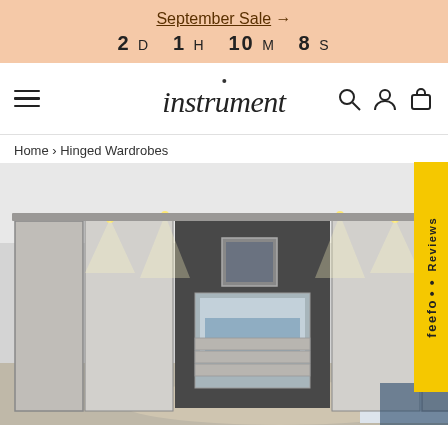September Sale → 2 D 1 H 10 M 8 S
[Figure (logo): Instrument furniture brand logo with hamburger menu and search/account/cart icons]
Home › Hinged Wardrobes
[Figure (photo): Large hinged wardrobe in light grey gloss finish with integrated lighting, mirror section, and built-in drawers displayed in a modern bedroom setting]